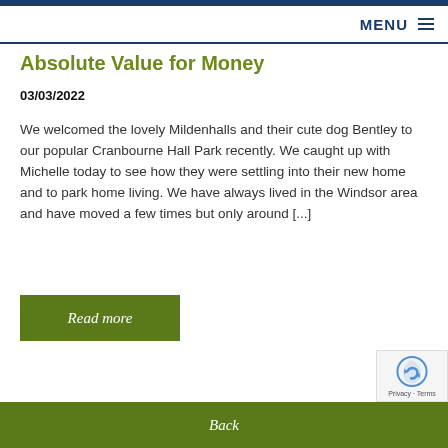MENU
Absolute Value for Money
03/03/2022
We welcomed the lovely Mildenhalls and their cute dog Bentley to our popular Cranbourne Hall Park recently. We caught up with Michelle today to see how they were settling into their new home and to park home living. We have always lived in the Windsor area and have moved a few times but only around [...]
[Figure (other): Green 'Read more' button]
[Figure (other): Green 'Back' button at bottom of page]
[Figure (other): reCAPTCHA badge with Privacy - Terms text]